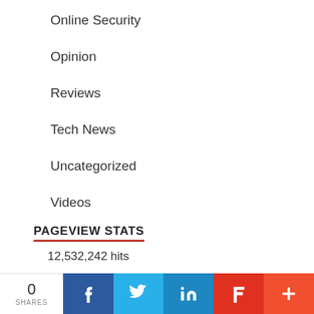Online Security
Opinion
Reviews
Tech News
Uncategorized
Videos
PAGEVIEW STATS
12,532,242 hits
0 SHARES | Facebook | Twitter | LinkedIn | Flipboard | More